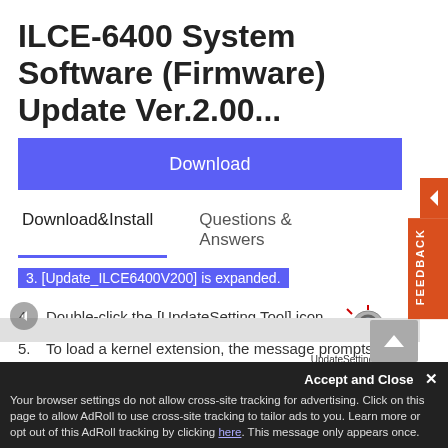ILCE-6400 System Software (Firmware) Update Ver.2.00...
Download
Download&Install    Questions & Answers
3. [Update_ILCE6400V200] is expanded.
4. Double-click the [UpdateSetting Tool] icon.
5. To load a kernel extension, the message prompts you to allow the application to make changes. Type the password for the administrative account.
Accept and Close ✕
Your browser settings do not allow cross-site tracking for advertising. Click on this page to allow AdRoll to use cross-site tracking to tailor ads to you. Learn more or opt out of this AdRoll tracking by clicking here. This message only appears once.